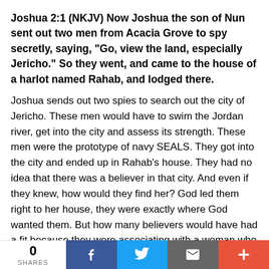Joshua 2:1 (NKJV) Now Joshua the son of Nun sent out two men from Acacia Grove to spy secretly, saying, "Go, view the land, especially Jericho." So they went, and came to the house of a harlot named Rahab, and lodged there.
Joshua sends out two spies to search out the city of Jericho. These men would have to swim the Jordan river, get into the city and assess its strength. These men were the prototype of navy SEALS. They got into the city and ended up in Rahab's house. They had no idea that there was a believer in that city. And even if they knew, how would they find her? God led them right to her house, they were exactly where God wanted them. But how many believers would have had a fit because they were associating with a woman who was known as a harlot.
0 SHARES | Facebook | Twitter | Email | More